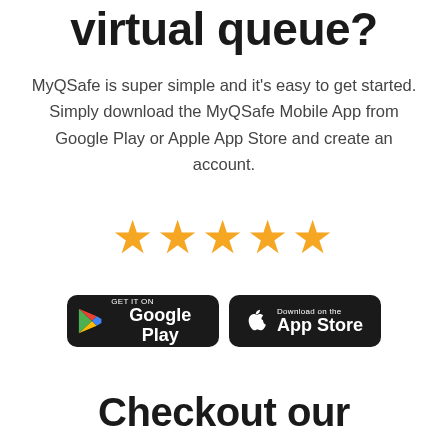virtual queue?
MyQSafe is super simple and it's easy to get started. Simply download the MyQSafe Mobile App from Google Play or Apple App Store and create an account.
[Figure (illustration): Five gold star rating icons displayed in a row]
[Figure (illustration): Google Play store badge (black rounded rectangle with GET IT ON Google Play text and colorful play icon)]
[Figure (illustration): Apple App Store badge (black rounded rectangle with Download on the App Store text and Apple logo)]
Checkout our